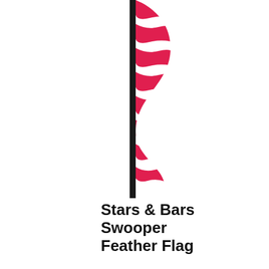[Figure (illustration): A feather flag/swooper flag with red and white diagonal wavy stripes on a black pole, shown from the top portion. The flag curves and tapers at the top.]
Stars & Bars Swooper Feather Flag
$19.95
Our Stars & Bars Swooper Feather Flag features a traditional red, white and blue design: with red and white stripes at the bottom and a blue field, decorated with white stars of different sizes at the top...